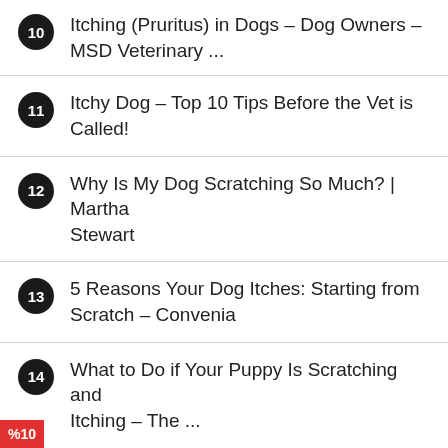10   Itching (Pruritus) in Dogs – Dog Owners – MSD Veterinary ...
11   Itchy Dog – Top 10 Tips Before the Vet is Called!
12   Why Is My Dog Scratching So Much? | Martha Stewart
13   5 Reasons Your Dog Itches: Starting from Scratch – Convenia
14   What to Do if Your Puppy Is Scratching and Itching – The ...
15   12 Reasons Your Dog Won't Stop Itching (and
%10